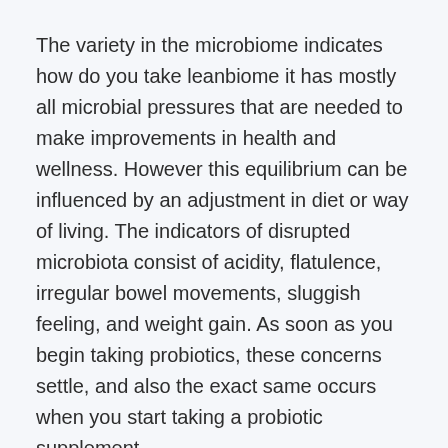The variety in the microbiome indicates how do you take leanbiome it has mostly all microbial pressures that are needed to make improvements in health and wellness. However this equilibrium can be influenced by an adjustment in diet or way of living. The indicators of disrupted microbiota consist of acidity, flatulence, irregular bowel movements, sluggish feeling, and weight gain. As soon as you begin taking probiotics, these concerns settle, and also the exact same occurs when you start taking a probiotic supplement.
From the details gathered, LeanBiome can quickly be described as one of the top probiotic supplements nowadays, and there are lots of factors to trust this product. According to the